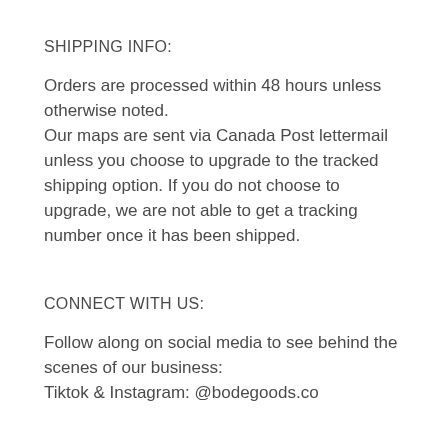SHIPPING INFO:
Orders are processed within 48 hours unless otherwise noted.
Our maps are sent via Canada Post lettermail unless you choose to upgrade to the tracked shipping option. If you do not choose to upgrade, we are not able to get a tracking number once it has been shipped.
CONNECT WITH US:
Follow along on social media to see behind the scenes of our business:
Tiktok & Instagram: @bodegoods.co